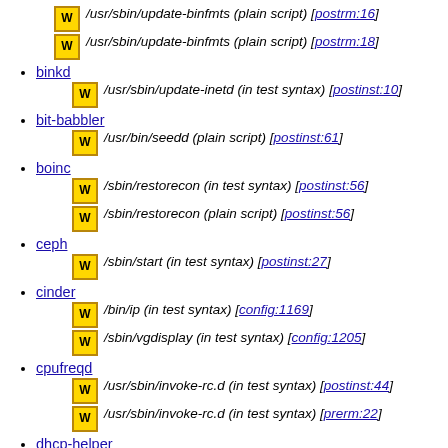/usr/sbin/update-binfmts (plain script) [postrm:16]
/usr/sbin/update-binfmts (plain script) [postrm:18]
binkd
/usr/sbin/update-inetd (in test syntax) [postinst:10]
bit-babbler
/usr/bin/seedd (plain script) [postinst:61]
boinc
/sbin/restorecon (in test syntax) [postinst:56]
/sbin/restorecon (plain script) [postinst:56]
ceph
/sbin/start (in test syntax) [postinst:27]
cinder
/bin/ip (in test syntax) [config:1169]
/sbin/vgdisplay (in test syntax) [config:1205]
cpufreqd
/usr/sbin/invoke-rc.d (in test syntax) [postinst:44]
/usr/sbin/invoke-rc.d (in test syntax) [prerm:22]
dhcp-helper
/usr/sbin/invoke-rc.d (in test syntax) [postinst:8]
/usr/sbin/invoke-rc.d (in test syntax) [prerm:4]
dist
/bin/cat (plain script) [postinst:145]
dnsmasq
/usr/sbin/invoke-rc.d (in test syntax) [postinst:33]
/usr/sbin/invoke-rc.d (in test syntax) [prerm:5]
dvi2ps